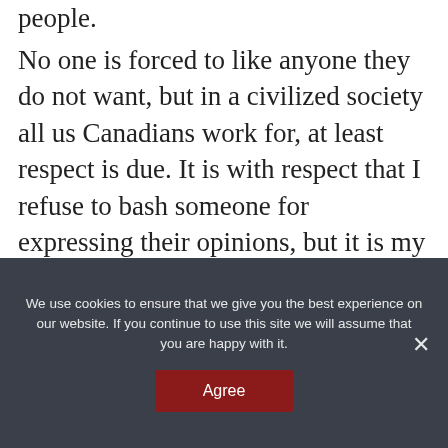people.
No one is forced to like anyone they do not want, but in a civilized society all us Canadians work for, at least respect is due. It is with respect that I refuse to bash someone for expressing their opinions, but it is my obligation to educate them.
Much evil and harm has, and still is done in the name of God so choose the hard path to go
We use cookies to ensure that we give you the best experience on our website. If you continue to use this site we will assume that you are happy with it.
Agree